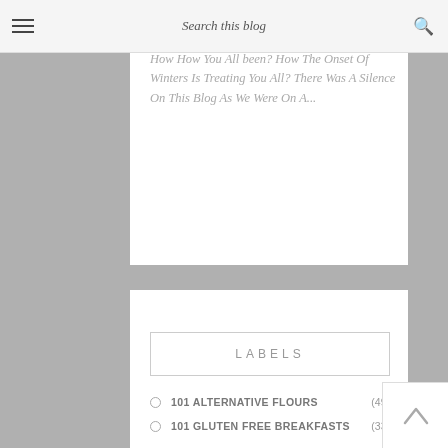Search this blog
How How You All been? How The Onset Of Winters Is Treating You All? There Was A Silence On This Blog As We Were On A...
LABELS
101 ALTERNATIVE FLOURS (49)
101 GLUTEN FREE BREAKFASTS (33)
30 MINUTE MEALS (10)
ANTI INFLAMMATORY FOODS (89)
ANTIOXIDANTS (91)
BREADS (21)